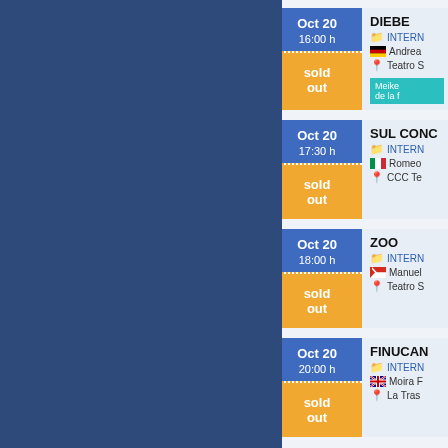DIEBE | Oct 20 16:00 h | sold out | INTERN... | Andrea... | Teatro S... | Meike... de la f...
SUL CONC... | Oct 20 17:30 h | sold out | INTERN... | Romeo... | CCC Te...
ZOO | Oct 20 18:00 h | sold out | INTERN... | Manuel... | Teatro S...
FINUCAN... | Oct 20 20:00 h | sold out | INTERN... | Moira F... | La Tras...